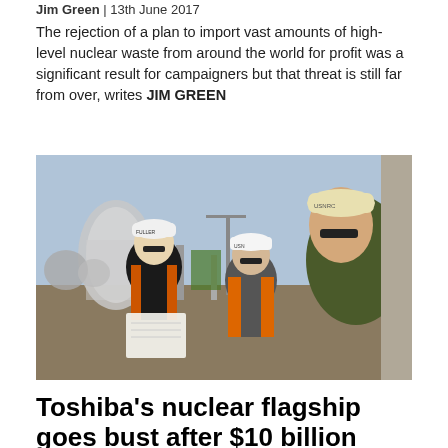Jim Green | 13th June 2017
The rejection of a plan to import vast amounts of high-level nuclear waste from around the world for profit was a significant result for campaigners but that threat is still far from over, writes JIM GREEN
[Figure (photo): Three people wearing hard hats (labelled USNRC and FULLER) and high-visibility orange/yellow vests at a nuclear construction site, looking at documents. Nuclear cooling towers and industrial structures visible in background.]
Toshiba's nuclear flagship goes bust after $10 billion losses